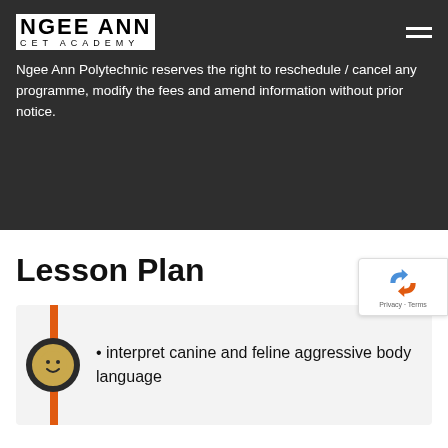NGEE ANN CET ACADEMY
Ngee Ann Polytechnic reserves the right to reschedule / cancel any programme, modify the fees and amend information without prior notice.
Lesson Plan
interpret canine and feline aggressive body language
[Figure (logo): reCAPTCHA badge with recycling arrows icon and Privacy · Terms text]